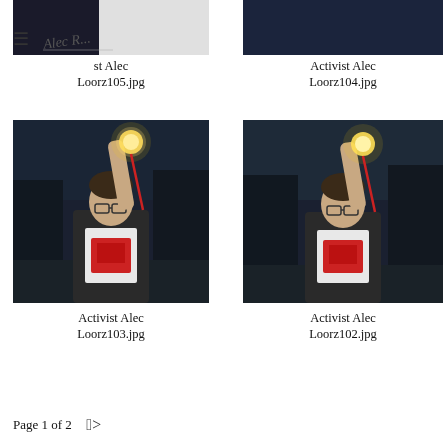[Figure (photo): Partial top view of Activist Alec Loorz photo 105, dark outdoor scene, partially cropped with white/grey area at right]
[Figure (photo): Partial top view of Activist Alec Loorz photo 104, dark outdoor scene]
st Alec Loorz105.jpg
Activist Alec Loorz104.jpg
[Figure (photo): Photo of young man holding up a glowing light bulb with one arm raised, wearing glasses and a white t-shirt with red graphic, dark outdoor background - Activist Alec Loorz103.jpg]
[Figure (photo): Photo of young man holding up a glowing light bulb with one arm raised, wearing glasses and a white t-shirt with red graphic, dark outdoor background - Activist Alec Loorz102.jpg]
Activist Alec Loorz103.jpg
Activist Alec Loorz102.jpg
Page 1 of 2  >